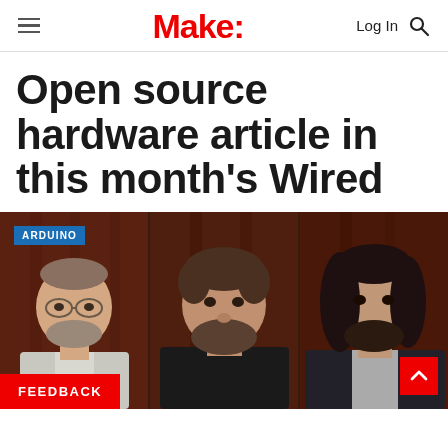Make:
Open source hardware article in this month's Wired
[Figure (photo): Three men photographed against a dark wooden background. Left: man with glasses and beard. Center: heavyset man with curly hair and full beard, wearing black. Right: man with long curly dark hair and beard, wearing dark jacket over grey shirt. 'ARDUINO' badge in top-left corner. 'FEEDBACK' button in bottom-left. Back-to-top arrow button in bottom-right.]